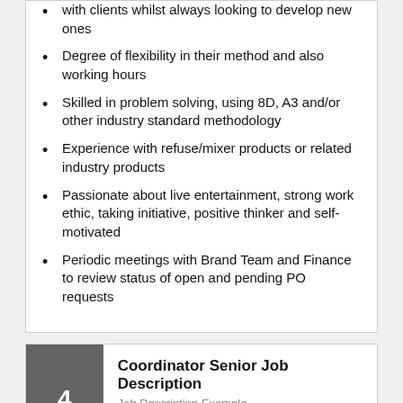with clients whilst always looking to develop new ones
Degree of flexibility in their method and also working hours
Skilled in problem solving, using 8D, A3 and/or other industry standard methodology
Experience with refuse/mixer products or related industry products
Passionate about live entertainment, strong work ethic, taking initiative, positive thinker and self-motivated
Periodic meetings with Brand Team and Finance to review status of open and pending PO requests
Coordinator Senior Job Description
Job Description Example